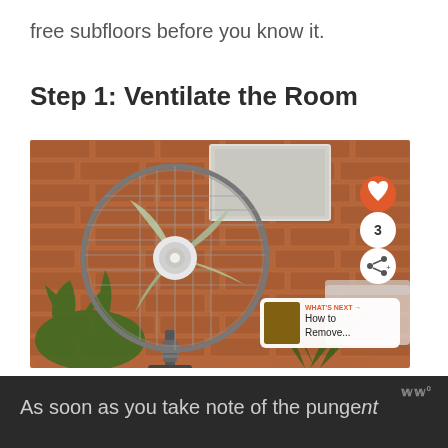free subfloors before you know it.
Step 1: Ventilate the Room
[Figure (photo): A standing electric fan with a gray frame, positioned in a room with exposed brick walls, green houseplants, and a blurred sofa. Overlay UI elements include a heart/like button (orange circle), a share count showing '3', a share icon button, and a 'What's Next' card showing 'How to Remove...']
As soon as you take note of the pungent